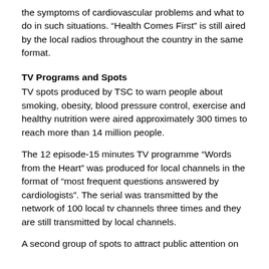the symptoms of cardiovascular problems and what to do in such situations. “Health Comes First” is still aired by the local radios throughout the country in the same format.
TV Programs and Spots
TV spots produced by TSC to warn people about smoking, obesity, blood pressure control, exercise and healthy nutrition were aired approximately 300 times to reach more than 14 million people.
The 12 episode-15 minutes TV programme “Words from the Heart” was produced for local channels in the format of “most frequent questions answered by cardiologists”. The serial was transmitted by the network of 100 local tv channels three times and they are still transmitted by local channels.
A second group of spots to attract public attention on